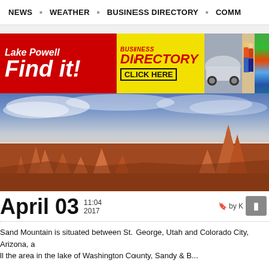NEWS  ·  WEATHER  ·  BUSINESS DIRECTORY  ·  COMM...
[Figure (photo): Advertisement banner for Lake Powell Business Directory with red background, yellow section, and photo collage of car, people, and kayaks]
[Figure (photo): Hero image of red rock hoodoo formations (Bryce Canyon style) against a blue sky with clouds]
April 03   11:04  2017    by K...
Sand Mountain is situated between St. George, Utah and Colorado City, Arizona, a... the area in the Lake of Washington County, Sandy & B...